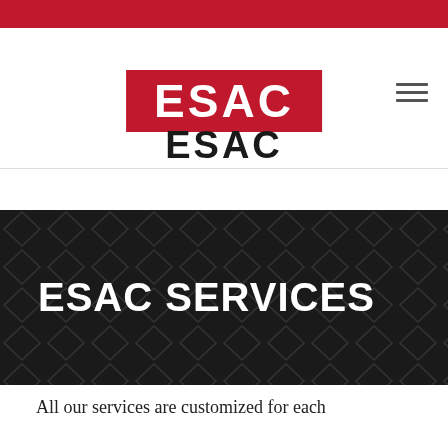[Figure (logo): ESAC logo with red background box containing white ESAC text and black ESAC text below]
ESAC SERVICES
All our services are customized for each